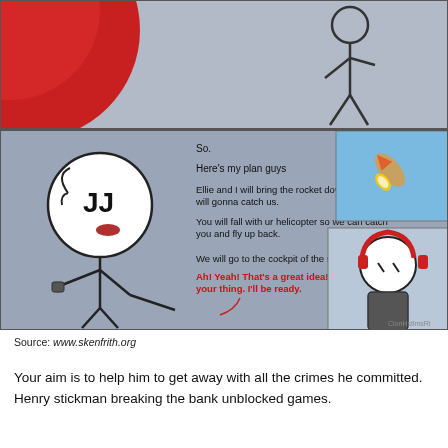[Figure (illustration): Comic strip featuring a stickman character (Henry Stickman) holding a radio/communicator, speaking a plan about bringing a rocket down. Dialogue includes red response text from other characters. Two inset images show a rocket flying and another character with headphones. Top panel shows a red sphere and a stick figure silhouette.]
Source: www.skenfrith.org
Your aim is to help him to get away with all the crimes he committed. Henry stickman breaking the bank unblocked games.